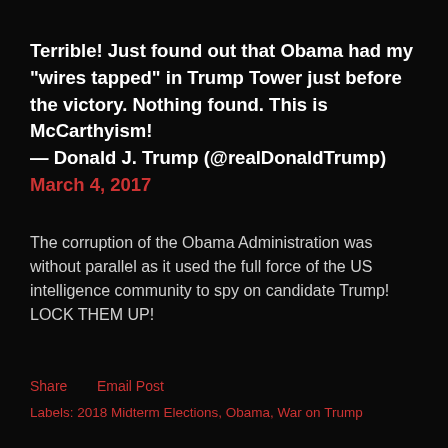Terrible! Just found out that Obama had my "wires tapped" in Trump Tower just before the victory. Nothing found. This is McCarthyism!
— Donald J. Trump (@realDonaldTump) March 4, 2017
The corruption of the Obama Administration was without parallel as it used the full force of the US intelligence community to spy on candidate Trump!  LOCK THEM UP!
Share    Email Post
Labels: 2018 Midterm Elections, Obama, War on Trump